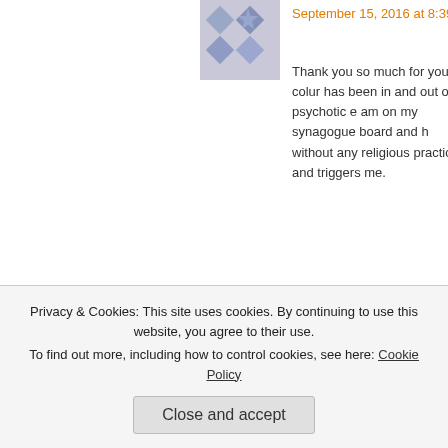[Figure (illustration): User avatar with diamond/star pattern in blue-grey tones]
September 15, 2016 at 8:39 pm
Thank you so much for your colum has been in and out of psychotic e am on my synagogue board and h without any religious practice and triggers me.
Like
[Figure (photo): Profile photo of two people (man and woman) embracing, dark background]
dlgreene
September 15, 2
Amy I wish yo hope that our c the struggles c en
Privacy & Cookies: This site uses cookies. By continuing to use this website, you agree to their use.
To find out more, including how to control cookies, see here: Cookie Policy
Close and accept